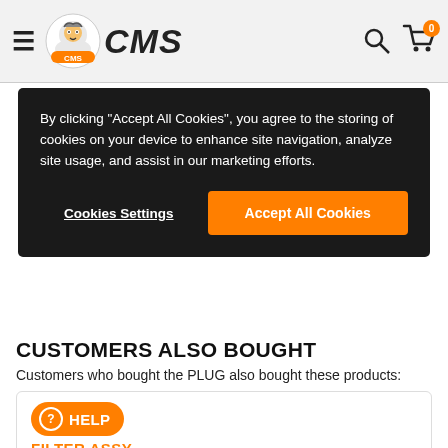CMS
By clicking "Accept All Cookies", you agree to the storing of cookies on your device to enhance site navigation, analyze site usage, and assist in our marketing efforts.
Cookies Settings
Accept All Cookies
CUSTOMERS ALSO BOUGHT
Customers who bought the PLUG also bought these products:
HELP FILTER ASSY
1278914 J00